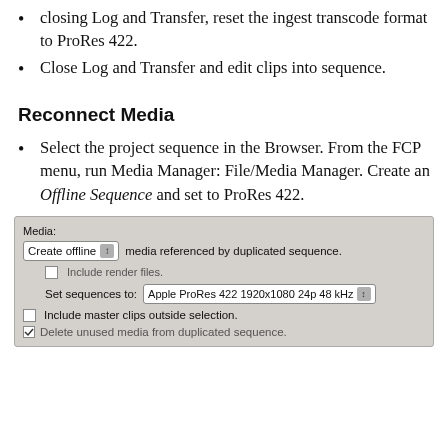closing Log and Transfer, reset the ingest transcode format to ProRes 422.
Close Log and Transfer and edit clips into sequence.
Reconnect Media
Select the project sequence in the Browser. From the FCP menu, run Media Manager: File/Media Manager. Create an Offline Sequence and set to ProRes 422.
[Figure (screenshot): Media Manager dialog screenshot showing: Media section with 'Create offline' dropdown, 'media referenced by duplicated sequence.' text, 'Include render files.' checkbox (unchecked), 'Set sequences to: Apple ProRes 422 1920x1080 24p 48 kHz' dropdown, 'Include master clips outside selection.' checkbox (unchecked), 'Delete unused media from duplicated sequence.' checkbox (checked, partially visible)]